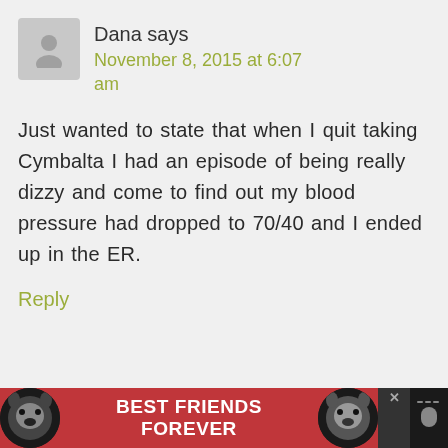[Figure (illustration): Gray placeholder avatar icon of a person silhouette]
Dana says
November 8, 2015 at 6:07 am
Just wanted to state that when I quit taking Cymbalta I had an episode of being really dizzy and come to find out my blood pressure had dropped to 70/40 and I ended up in the ER.
Reply
[Figure (photo): Advertisement banner: Best Friends Forever with cat images on red background]